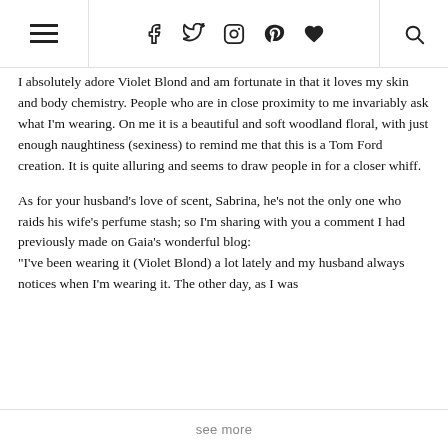Navigation header with hamburger menu, social icons (Facebook, Twitter, Instagram, Pinterest, Heart/Bloglovin), and search icon
I absolutely adore Violet Blond and am fortunate in that it loves my skin and body chemistry. People who are in close proximity to me invariably ask what I&#39;m wearing. On me it is a beautiful and soft woodland floral, with just enough naughtiness (sexiness) to remind me that this is a Tom Ford creation. It is quite alluring and seems to draw people in for a closer whiff.
As for your husband&#39;s love of scent, Sabrina, he&#39;s not the only one who raids his wife&#39;s perfume stash; so I&#39;m sharing with you a comment I had previously made on Gaia&#39;s wonderful blog: "I&#39;ve been wearing it (Violet Blond) a lot lately and my husband always notices when I&#39;m wearing it. The other day, as I was
see more